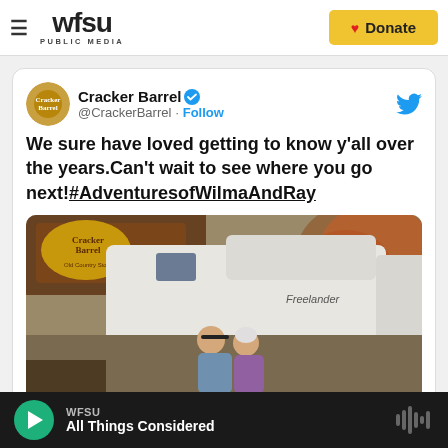WFSU PUBLIC MEDIA | Donate
[Figure (screenshot): Cracker Barrel tweet with photo of elderly couple standing in front of RV at Cracker Barrel Old Country Store. Tweet text: 'We sure have loved getting to know y'all over the years.Can't wait to see where you go next! #AdventuresofWilmaAndRay'. Twitter bird logo top right.]
WFSU — All Things Considered (audio player)